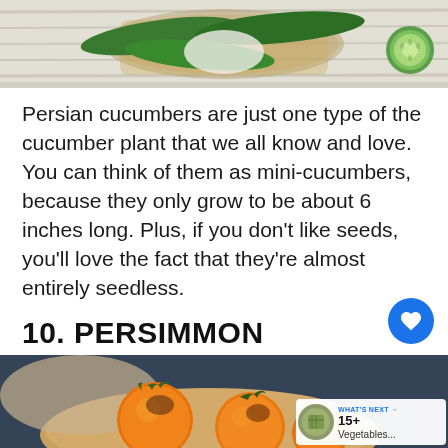[Figure (photo): Top portion of a photo showing cucumbers in a wicker basket on a white wooden surface, with a sliced cucumber round visible on the right side.]
Persian cucumbers are just one type of the cucumber plant that we all know and love. You can think of them as mini-cucumbers, because they only grow to be about 6 inches long. Plus, if you don't like seeds, you'll love the fact that they're almost entirely seedless.
10. PERSIMMON
[Figure (photo): Photo of bright orange persimmon fruits arranged on a round wooden plate or tray, with a blue/grey fabric background partially visible. A 'What's Next' overlay card appears in the bottom right corner showing '15+ Vegetables...']